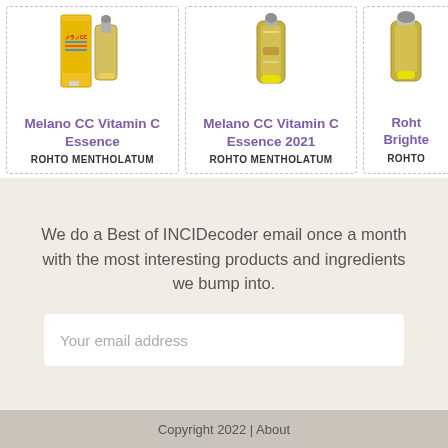[Figure (screenshot): Product card for Melano CC Vitamin C Essence by Rohto Mentholatum showing product tube image]
Melano CC Vitamin C Essence
ROHTO MENTHOLATUM
[Figure (screenshot): Product card for Melano CC Vitamin C Essence 2021 by Rohto Mentholatum showing product tube image]
Melano CC Vitamin C Essence 2021
ROHTO MENTHOLATUM
[Figure (screenshot): Partial product card for Rohto Brighte... by Rohto showing partial product image]
Roht Brighte
ROHTO
We do a Best of INCIDecoder email once a month with the most interesting products and ingredients we bump into.
Your email address
Copyright 2022 | About